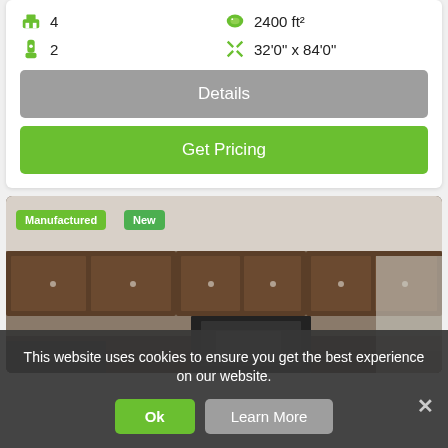4
2400 ft²
2
32'0" x 84'0"
Details
Get Pricing
[Figure (photo): Interior kitchen photo showing dark wood cabinets, refrigerator, and appliances in a manufactured home]
Manufactured
New
This website uses cookies to ensure you get the best experience on our website.
Ok
Learn More